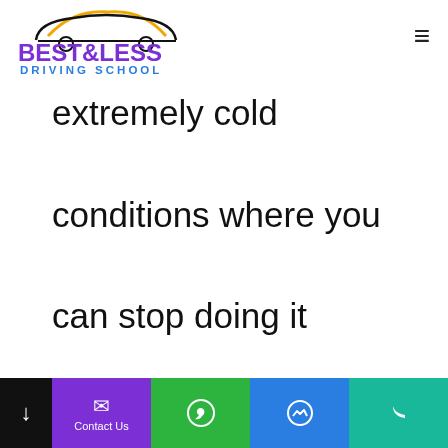[Figure (logo): Best&Less Driving School logo with car silhouette and yellow/orange roof shape above purple and blue text]
extremely cold conditions where you can stop doing it because the brake pads would freeze.

Our driving instructor
↓ | Contact Us | WhatsApp | Messenger | Phone